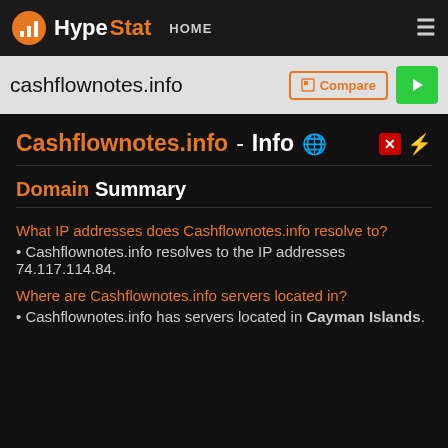HypeStat HOME ≡
cashflownotes.info
Cashflownotes.info - Info
Domain Summary
What IP addresses does Cashflownotes.info resolve to?
Cashflownotes.info resolves to the IP addresses 74.117.114.84.
Where are Cashflownotes.info servers located in?
Cashflownotes.info has servers located in Cayman Islands.